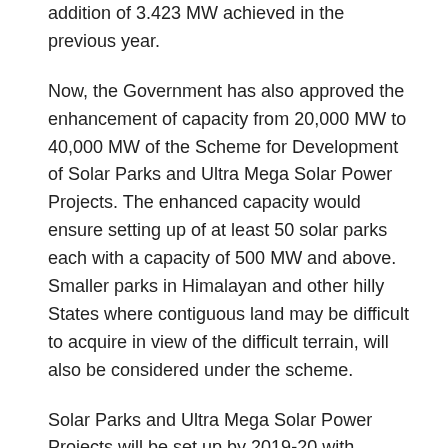addition of 3.423 MW achieved in the previous year.
Now, the Government has also approved the enhancement of capacity from 20,000 MW to 40,000 MW of the Scheme for Development of Solar Parks and Ultra Mega Solar Power Projects. The enhanced capacity would ensure setting up of at least 50 solar parks each with a capacity of 500 MW and above. Smaller parks in Himalayan and other hilly States where contiguous land may be difficult to acquire in view of the difficult terrain, will also be considered under the scheme.
Solar Parks and Ultra Mega Solar Power Projects will be set up by 2019-20 with Centre's financial support of Rs.8100 crore. The total capacity when operational will generate 64 billion units of electricity per year which will lead to abatement of around 55 million tons of CO2 per annum during its life cycle.